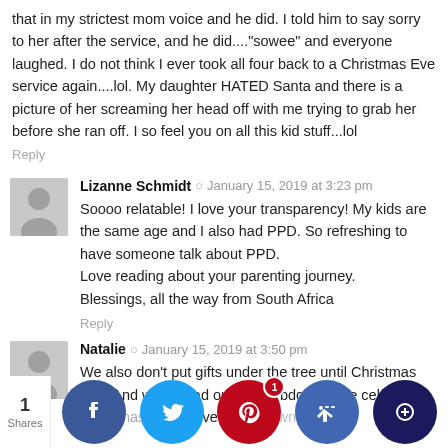that in my strictest mom voice and he did. I told him to say sorry to her after the service, and he did...."sowee" and everyone laughed. I do not think I ever took all four back to a Christmas Eve service again....lol. My daughter HATED Santa and there is a picture of her screaming her head off with me trying to grab her before she ran off. I so feel you on all this kid stuff...lol
Reply
Lizanne Schmidt · January 15, 2019 at 3:23 pm
Soooo relatable! I love your transparency! My kids are the same age and I also had PPD. So refreshing to have someone talk about PPD.
Love reading about your parenting journey.
Blessings, all the way from South Africa
Reply
Natalie · January 15, 2019 at 3:50 pm
We also don't put gifts under the tree until Christmas Eve. And we spread out gifting bdcause we celebrate Christmas as we give...
1 Shares